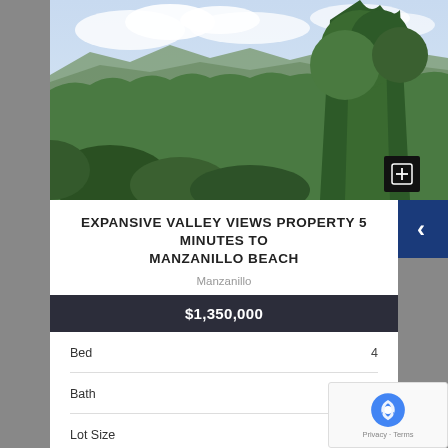[Figure (photo): Aerial/elevated view of lush green tropical valley with large trees in foreground, mountains and cloudy sky in background. Manzanillo, Costa Rica area.]
EXPANSIVE VALLEY VIEWS PROPERTY 5 MINUTES TO MANZANILLO BEACH
Manzanillo
$1,350,000
|  |  |
| --- | --- |
| Bed | 4 |
| Bath | 3 |
| Lot Size |  |
| Location | Manza… |